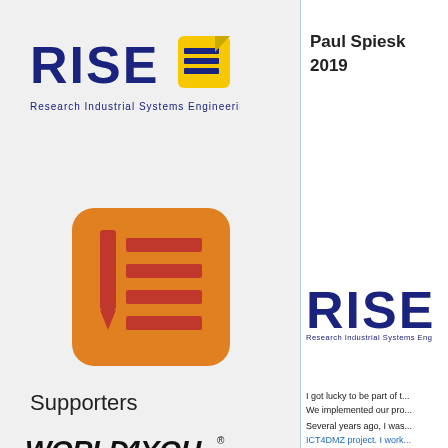[Figure (logo): RISE Research Industrial Systems Engineering logo with yellow document icon]
[Figure (logo): Orange app icon with red pencil and horizontal red bars (list app icon)]
Supporters
[Figure (logo): WORLD4YOU INTERNET SERVICES GMBH logo in bold black italic]
[Figure (logo): Austrian Development Cooperation logo with two horizontal lines]
Paul Spiesk
2019
[Figure (logo): RISE Research Industrial Systems Engineering logo (partial, right panel)]
I got lucky to be part of t...
We implemented our pro...
Several years ago, I was...
ICT4DMZ project. I work...
development manage...